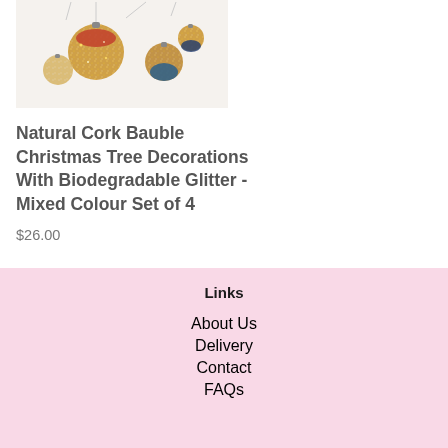[Figure (photo): Photo of Natural Cork Bauble Christmas Tree Decorations with biodegradable glitter in mixed colours - showing several glittery cork ball ornaments with hanging strings]
Natural Cork Bauble Christmas Tree Decorations With Biodegradable Glitter - Mixed Colour Set of 4
$26.00
Links
About Us
Delivery
Contact
FAQs